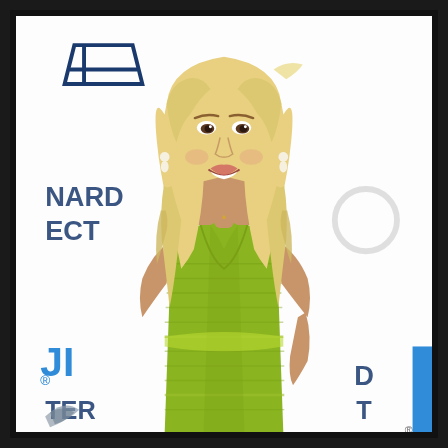[Figure (photo): A blonde woman wearing a lime green knit/textured sleeveless dress smiles at an event. She has long wavy blonde hair, drop earrings, and a necklace. In the background is a white step-and-repeat banner with partial logos including 'NARD', 'ECT', 'FIJI', 'TER', and partial text on the right side. The image is framed with a thick dark border.]